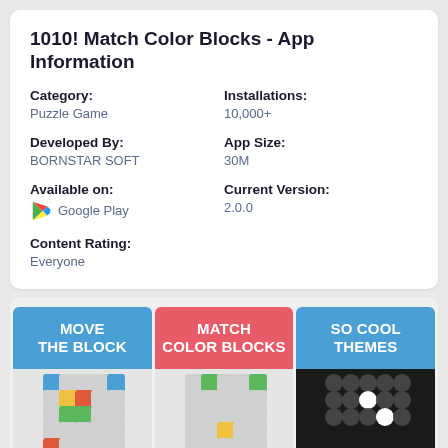1010! Match Color Blocks - App Information
Category:
Puzzle Game
Installations:
10,000+
Developed By:
BORNSTAR SOFT
App Size:
30M
Available on:
Google Play
Current Version:
2.0.0
Content Rating:
Everyone
[Figure (screenshot): Three screenshot tiles from the 1010! Match Color Blocks app: 'MOVE THE BLOCK' (blue), 'MATCH COLOR BLOCKS' (red/pink), and 'SO COOL THEMES' (blue), each with a game grid preview below.]